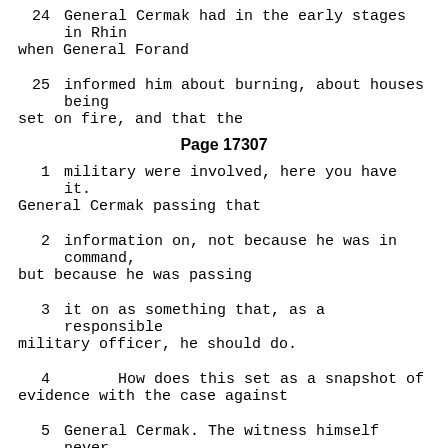24      General Cermak had in the early stages in Khin when General Forand
25      informed him about burning, about houses being set on fire, and that the
Page 17307
1      military were involved, here you have it. General Cermak passing that
2      information on, not because he was in command, but because he was passing
3      it on as something that, as a responsible military officer, he should do.
4              How does this set as a snapshot of evidence with the case against
5      General Cermak. The witness himself never